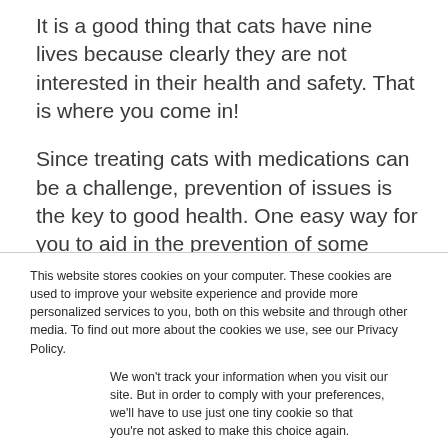It is a good thing that cats have nine lives because clearly they are not interested in their health and safety. That is where you come in!
Since treating cats with medications can be a challenge, prevention of issues is the key to good health. One easy way for you to aid in the prevention of some health issues is providing your cat with treats that have benefits.
Any time you are adding anything new to your cat's diet,
This website stores cookies on your computer. These cookies are used to improve your website experience and provide more personalized services to you, both on this website and through other media. To find out more about the cookies we use, see our Privacy Policy.
We won't track your information when you visit our site. But in order to comply with your preferences, we'll have to use just one tiny cookie so that you're not asked to make this choice again.
Accept
Decline